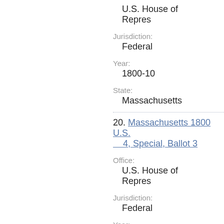U.S. House of Representatives
Jurisdiction:
Federal
Year:
1800-10
State:
Massachusetts
20. Massachusetts 1800 U.S. House of Representatives, District 4, Special, Ballot 3
Office:
U.S. House of Representatives
Jurisdiction:
Federal
Year:
1800-12
State:
Massachusetts
21. Massachusetts 1801 U.S. ...